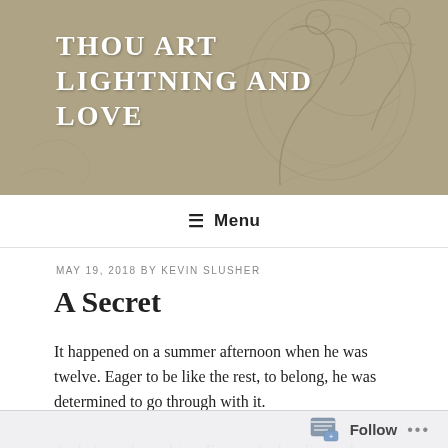[Figure (illustration): Sepia-toned sketch of two figures embracing or dancing, used as website header background]
THOU ART LIGHTNING AND LOVE
≡ Menu
MAY 19, 2018 BY KEVIN SLUSHER
A Secret
It happened on a summer afternoon when he was twelve. Eager to be like the rest, to belong, he was determined to go through with it.
And aftwards, nothing. Except the loneliness that comes from getting what you want. A mistake of youth. [The same
Follow ...